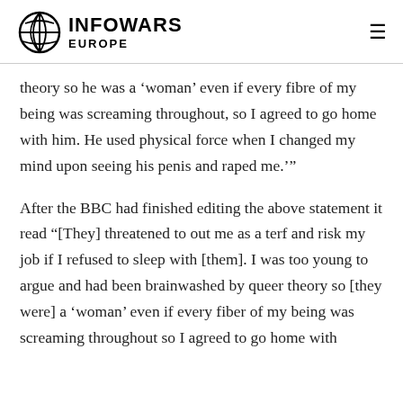INFOWARS EUROPE
theory so he was a ‘woman’ even if every fibre of my being was screaming throughout, so I agreed to go home with him. He used physical force when I changed my mind upon seeing his penis and raped me.’”
After the BBC had finished editing the above statement it read “[They] threatened to out me as a terf and risk my job if I refused to sleep with [them]. I was too young to argue and had been brainwashed by queer theory so [they were] a ‘woman’ even if every fiber of my being was screaming throughout so I agreed to go home with